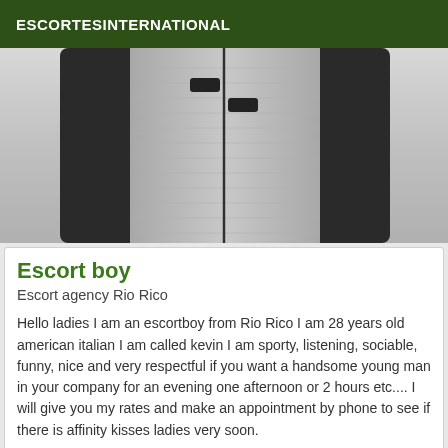ESCORTESINTERNATIONAL
[Figure (photo): Torso photo of a person wearing a grey zip-up jacket with black sleeves, standing outdoors in a snowy setting]
Escort boy
Escort agency Rio Rico
Hello ladies I am an escortboy from Rio Rico I am 28 years old american italian I am called kevin I am sporty, listening, sociable, funny, nice and very respectful if you want a handsome young man in your company for an evening one afternoon or 2 hours etc.... I will give you my rates and make an appointment by phone to see if there is affinity kisses ladies very soon.
[Figure (photo): Partial photo of a person with a Verified badge overlay in the bottom right corner]